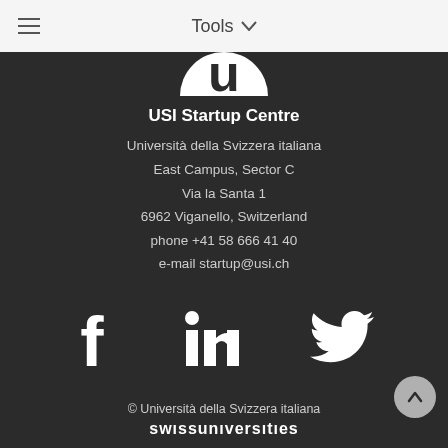Tools
[Figure (logo): USI circular logo with white 'u' on dark background, partially cropped at top]
USI Startup Centre
Università della Svizzera italiana
East Campus, Sector C
Via la Santa 1
6962 Viganello, Switzerland
phone +41 58 666 41 40
e-mail startup@usi.ch
[Figure (infographic): Social media icons: Facebook (f), LinkedIn (in), Twitter (bird) in white on dark background]
© Università della Svizzera italiana
swissuniversities